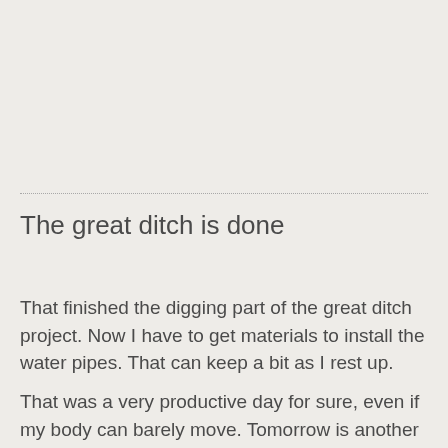The great ditch is done
That finished the digging part of the great ditch project. Now I have to get materials to install the water pipes. That can keep a bit as I rest up.
That was a very productive day for sure, even if my body can barely move. Tomorrow is another day, which is straight a little and for me to rest it as